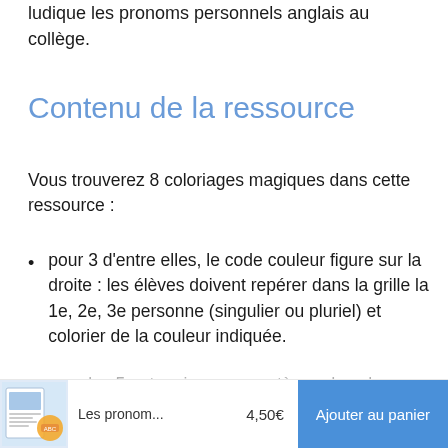ludique les pronoms personnels anglais au collège.
Contenu de la ressource
Vous trouverez 8 coloriages magiques dans cette ressource :
pour 3 d'entre elles, le code couleur figure sur la droite : les élèves doivent repérer dans la grille la 1e, 2e, 3e personne (singulier ou pluriel) et colorier de la couleur indiquée.
pour les 5 autres images mystères, des phrases se trouvent sur la droite. Les élèves doivent retrouver les pronoms personnels anglais correspondant et
Les pronom...   4,50€   Ajouter au panier